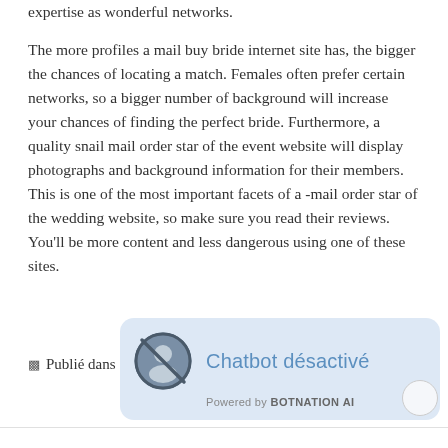expertise as wonderful networks.
The more profiles a mail buy bride internet site has, the bigger the chances of locating a match. Females often prefer certain networks, so a bigger number of background will increase your chances of finding the perfect bride. Furthermore, a quality snail mail order star of the event website will display photographs and background information for their members. This is one of the most important facets of a -mail order star of the wedding website, so make sure you read their reviews. You’ll be more content and less dangerous using one of these sites.
Publié dans
[Figure (screenshot): Chatbot désactivé overlay popup with a person/no icon and text 'Chatbot désactivé', 'Powered by BOTNATION AI']